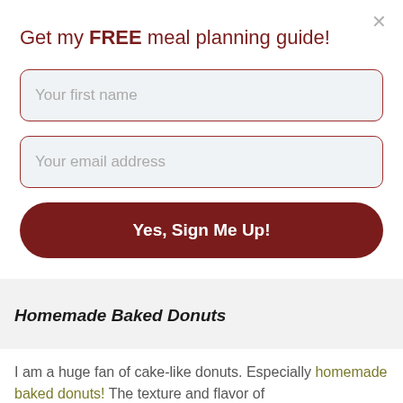Get my FREE meal planning guide!
Your first name
Your email address
Yes, Sign Me Up!
Homemade Baked Donuts
I am a huge fan of cake-like donuts. Especially homemade baked donuts! The texture and flavor of